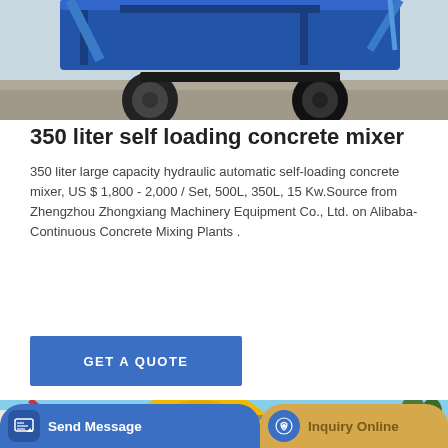[Figure (photo): Top portion of a blue self-loading concrete mixer machine, wheels visible on concrete ground]
350 liter self loading concrete mixer
350 liter large capacity hydraulic automatic self-loading concrete mixer, US $ 1,800 - 2,000 / Set, 500L, 350L, 15 Kw.Source from Zhengzhou Zhongxiang Machinery Equipment Co., Ltd. on Alibaba-Continuous Concrete Mixing Plants .
[Figure (other): GET A QUOTE button in blue]
[Figure (photo): Yellow self-loading concrete mixer truck parked outdoors against a blue sky background, labeled DISCHARGE MIXING]
[Figure (other): Bottom bar with Send Message button (blue) and Inquiry Online button (tan/gold)]